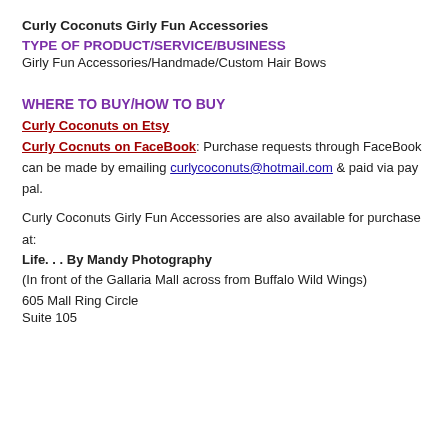Curly Coconuts Girly Fun Accessories
TYPE OF PRODUCT/SERVICE/BUSINESS
Girly Fun Accessories/Handmade/Custom Hair Bows
WHERE TO BUY/HOW TO BUY
Curly Coconuts on Etsy
Curly Cocnuts on FaceBook: Purchase requests through FaceBook can be made by emailing curlycoconuts@hotmail.com & paid via pay pal.
Curly Coconuts Girly Fun Accessories are also available for purchase at:
Life. . . By Mandy Photography
(In front of the Gallaria Mall across from Buffalo Wild Wings)
605 Mall Ring Circle
Suite 105